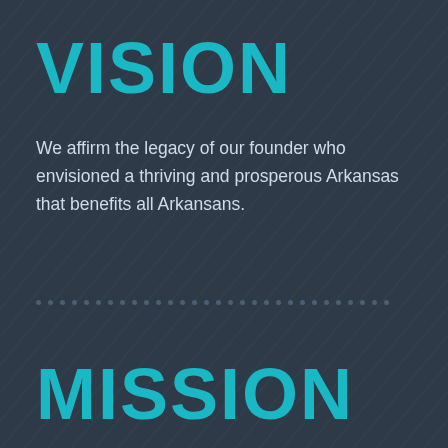VISION
We affirm the legacy of our founder who envisioned a thriving and prosperous Arkansas that benefits all Arkansans.
MISSION